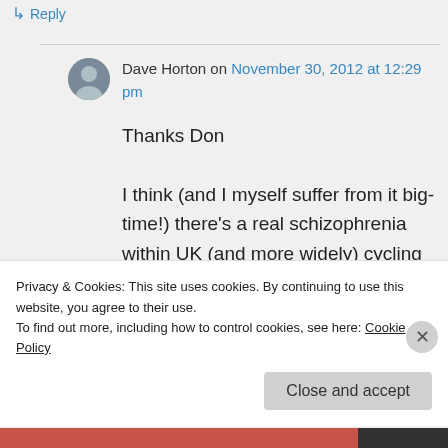↳ Reply
Dave Horton on November 30, 2012 at 12:29 pm
Thanks Don

I think (and I myself suffer from it big-time!) there's a real schizophrenia within UK (and more widely) cycling advocacy.
Privacy & Cookies: This site uses cookies. By continuing to use this website, you agree to their use.
To find out more, including how to control cookies, see here: Cookie Policy
Close and accept